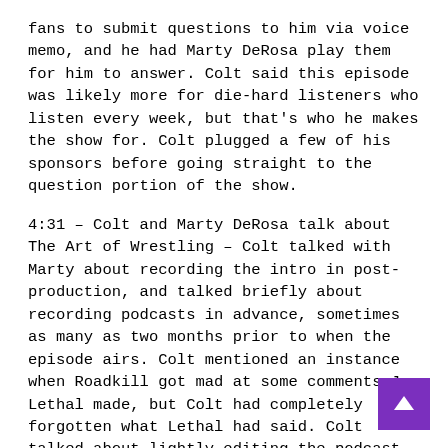fans to submit questions to him via voice memo, and he had Marty DeRosa play them for him to answer. Colt said this episode was likely more for die-hard listeners who listen every week, but that's who he makes the show for. Colt plugged a few of his sponsors before going straight to the question portion of the show.
4:31 – Colt and Marty DeRosa talk about The Art of Wrestling – Colt talked with Marty about recording the intro in post-production, and talked briefly about recording podcasts in advance, sometimes as many as two months prior to when the episode airs. Colt mentioned an instance when Roadkill got mad at some comments Jay Lethal made, but Colt had completely forgotten what Lethal had said. Colt talked about lightly editing the podcast, and Marty brought up an episode with PAC (Neville) where PAC opened up after the recording was over. Colt said there were some long questions, and he may do something on YouTube with them, and discussed word gaffes over the years.